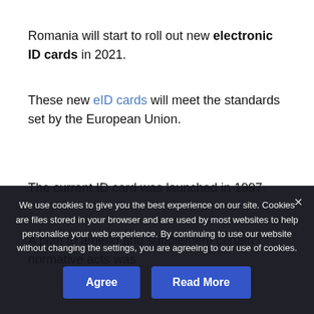Romania will start to roll out new electronic ID cards in 2021.
These new eID cards will meet the standards set by the European Union.
The current ID card was launched in 1997.
A plan to amend and supplement certain normative acts was
We use cookies to give you the best experience on our site. Cookies are files stored in your browser and are used by most websites to help personalise your web experience. By continuing to use our website without changing the settings, you are agreeing to our use of cookies.